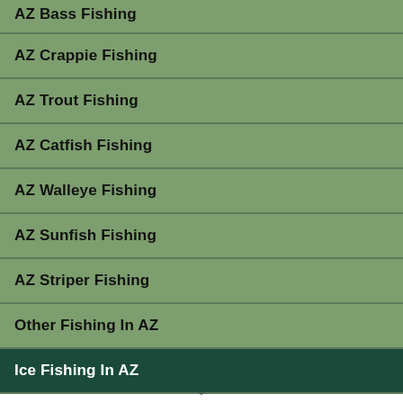AZ Bass Fishing
AZ Crappie Fishing
AZ Trout Fishing
AZ Catfish Fishing
AZ Walleye Fishing
AZ Sunfish Fishing
AZ Striper Fishing
Other Fishing In AZ
Ice Fishing In AZ